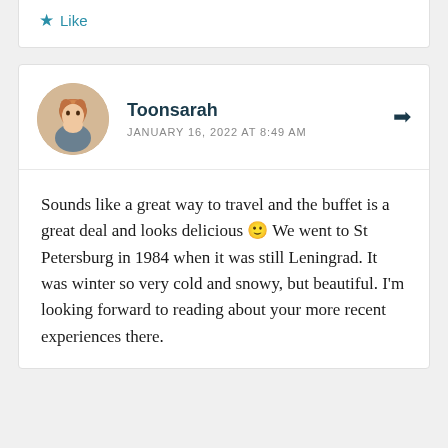Like
Toonsarah
JANUARY 16, 2022 AT 8:49 AM
Sounds like a great way to travel and the buffet is a great deal and looks delicious 🙂 We went to St Petersburg in 1984 when it was still Leningrad. It was winter so very cold and snowy, but beautiful. I'm looking forward to reading about your more recent experiences there.